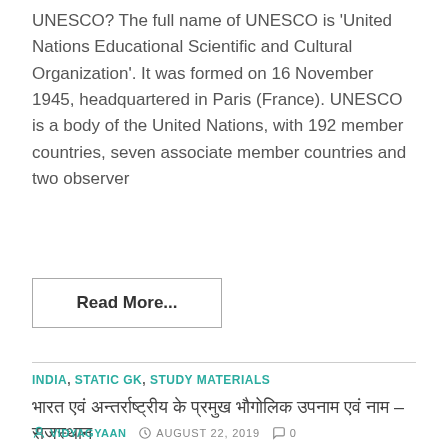UNESCO? The full name of UNESCO is 'United Nations Educational Scientific and Cultural Organization'. It was formed on 16 November 1945, headquartered in Paris (France). UNESCO is a body of the United Nations, with 192 member countries, seven associate member countries and two observer
Read More...
INDIA, STATIC GK, STUDY MATERIALS
भारत एवं अन्तर्राष्ट्रीय के प्रमुख भौगोलिक उपनाम एवं नाम – राजस्थान
VIDYAGYAAN  AUGUST 22, 2019  0